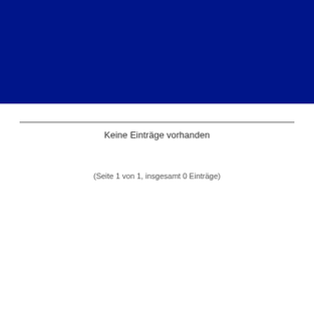[Figure (other): Dark navy blue header banner filling the top portion of the page]
Keine Einträge vorhanden
(Seite 1 von 1, insgesamt 0 Einträge)